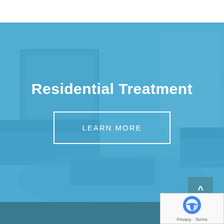[Figure (photo): Interior of a residential treatment facility living room with sofas, a decorative rug, picture on wall, and windows, covered with a blue translucent overlay]
Residential Treatment
LEARN MORE